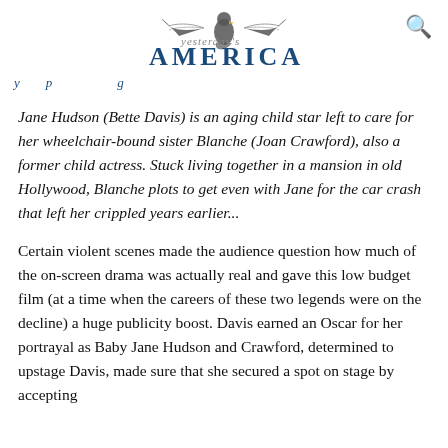Yesterday's America
Jane Hudson (Bette Davis) is an aging child star left to care for her wheelchair-bound sister Blanche (Joan Crawford), also a former child actress. Stuck living together in a mansion in old Hollywood, Blanche plots to get even with Jane for the car crash that left her crippled years earlier...
Certain violent scenes made the audience question how much of the on-screen drama was actually real and gave this low budget film (at a time when the careers of these two legends were on the decline) a huge publicity boost. Davis earned an Oscar for her portrayal as Baby Jane Hudson and Crawford, determined to upstage Davis, made sure that she secured a spot on stage by accepting